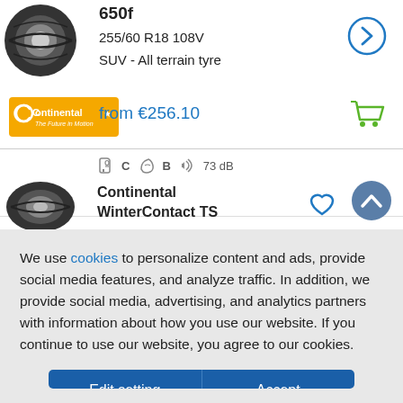[Figure (photo): Tire image at top left, partially cropped]
650f
255/60 R18 108V
SUV - All terrain tyre
from €256.10
[Figure (logo): Continental brand logo with orange background and tagline 'The Future in Motion']
[Figure (illustration): Right arrow circle button]
[Figure (illustration): Green shopping cart icon]
C  B  73 dB
[Figure (illustration): 4.5 star rating - 4 full stars and 1 half star]
[Figure (photo): Continental WinterContact TS tire image]
Continental WinterContact TS
[Figure (illustration): Scroll up circular button]
[Figure (illustration): Heart/favorites icon]
We use cookies to personalize content and ads, provide social media features, and analyze traffic. In addition, we provide social media, advertising, and analytics partners with information about how you use our website. If you continue to use our website, you agree to our cookies.
Edit setting
Accept